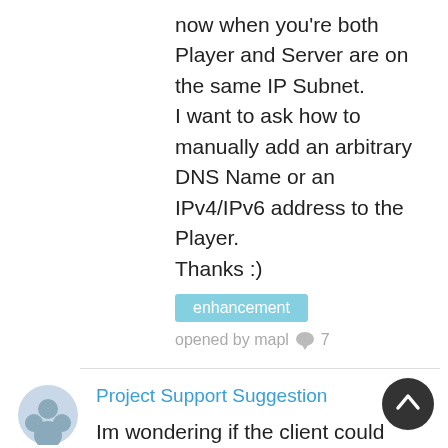now when you're both Player and Server are on the same IP Subnet.
I want to ask how to manually add an arbitrary DNS Name or an IPv4/IPv6 address to the Player.
Thanks :)
enhancement
opened by mapl 💬 7
Project Support Suggestion
Im wondering if the client could eventually be integrated with the Freetube Youtube front end